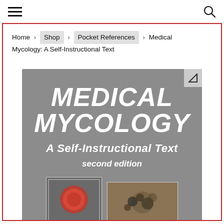≡  🔍
Home › Shop › Pocket References › Medical Mycology: A Self-Instructional Text
[Figure (photo): Book cover of 'Medical Mycology: A Self-Instructional Text, second edition' on a grey background with two specimen photos at the bottom — a red colony on left and a textured organism image on the right.]